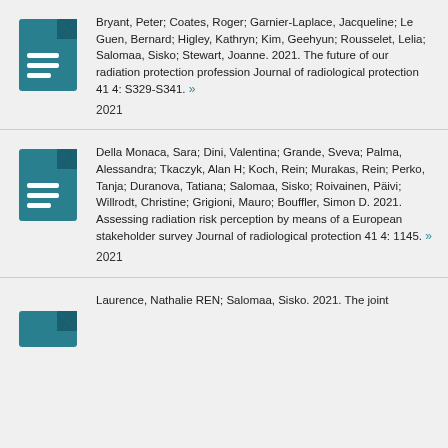Bryant, Peter; Coates, Roger; Garnier-Laplace, Jacqueline; Le Guen, Bernard; Higley, Kathryn; Kim, Geehyun; Rousselet, Lelia; Salomaa, Sisko; Stewart, Joanne. 2021. The future of our radiation protection profession Journal of radiological protection 41 4: S329-S341. » 2021
Della Monaca, Sara; Dini, Valentina; Grande, Sveva; Palma, Alessandra; Tkaczyk, Alan H; Koch, Rein; Murakas, Rein; Perko, Tanja; Duranova, Tatiana; Salomaa, Sisko; Roivainen, Päivi; Willrodt, Christine; Grigioni, Mauro; Bouffler, Simon D. 2021. Assessing radiation risk perception by means of a European stakeholder survey Journal of radiological protection 41 4: 1145. » 2021
Laurence, Nathalie REN; Salomaa, Sisko. 2021. The joint... (partial)